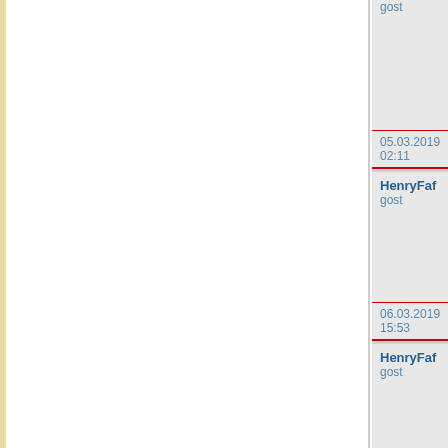| gost |  | 05.03.2019 02:11 |
| HenryFaf
gost |  | 06.03.2019 15:53 |
| HenryFaf
gost |  | 06.03.2019 22:32 |
| HenryFaf
gost |  | 07.03.2019 04:32 |